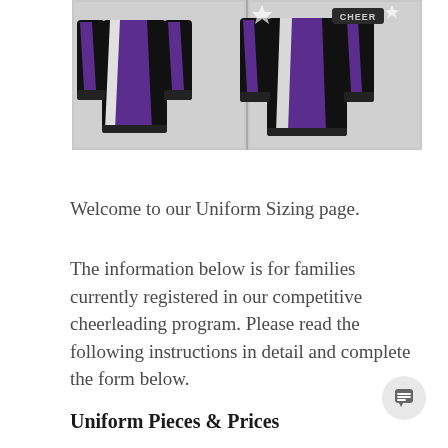[Figure (photo): Cheerleading uniforms displayed front and back views on a dark background. Black and purple color scheme with 'CHEER' text visible. Multiple views showing the jacket/top with purple and white accents.]
Welcome to our Uniform Sizing page.
The information below is for families currently registered in our competitive cheerleading program. Please read the following instructions in detail and complete the form below.
Uniform Pieces & Prices